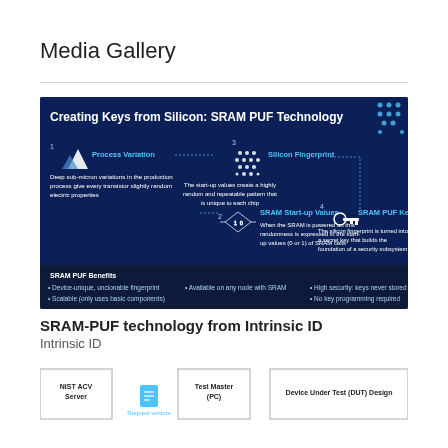Media Gallery
[Figure (infographic): Infographic titled 'Creating Keys from Silicon: SRAM PUF Technology'. Shows a 4-step process on a dark blue background: 1. Process Variation - Deep sub-micron variations in the production process give every transistor slightly random electric properties; 2. SRAM Start-up Values - When the SRAM is powered on this randomness is expressed in the start-up values (0 or 1) of SRAM cells; 3. Silicon Fingerprint - The start-up values create a highly random and repeatable pattern that is unique to each chip; 4. SRAM PUF Key - The silicon fingerprint is turned into a secret key that builds the foundation of a security subsystem. Bottom bar shows SRAM PUF Benefits: Device-unique, unclonable fingerprint; Available on any node with SRAM; Scalable (only uses basic components); High security: keys never stored; No key programming required.]
SRAM-PUF technology from Intrinsic ID
Intrinsic ID
[Figure (schematic): Partial diagram showing: NIST ACV Server box on the left, a component labeled 'Request vectors' in the center-left, and a 'Test Master (PC)' box, and a 'Device Under Test (DUT) Design' box on the right.]